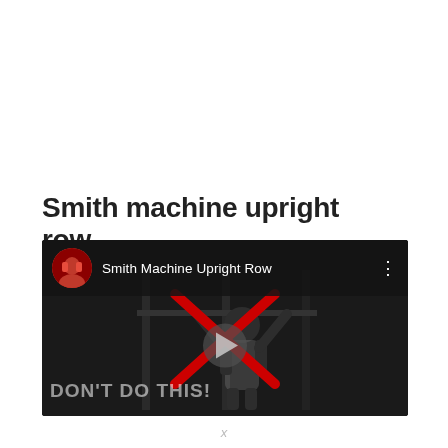Smith machine upright row
[Figure (screenshot): YouTube video thumbnail/embed showing 'Smith Machine Upright Row' with a red X overlaid and text 'DON'T DO THIS!' at the bottom, with a circular avatar and three-dot menu in the header bar.]